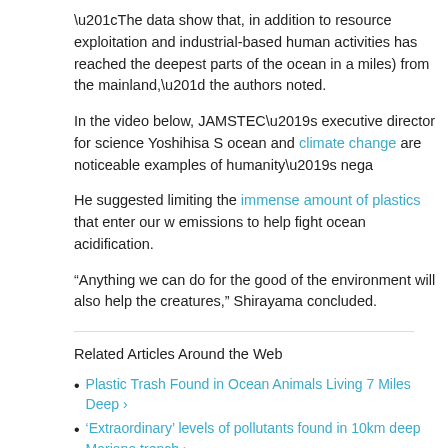“The data show that, in addition to resource exploitation and industrial-based human activities has reached the deepest parts of the ocean in a miles) from the mainland,” the authors noted.
In the video below, JAMSTEC’s executive director for science Yoshihisa S ocean and climate change are noticeable examples of humanity’s nega
He suggested limiting the immense amount of plastics that enter our w emissions to help fight ocean acidification.
“Anything we can do for the good of the environment will also help the creatures,” Shirayama concluded.
Related Articles Around the Web
Plastic Trash Found in Ocean Animals Living 7 Miles Deep ›
‘Extraordinary’ levels of pollutants found in 10km deep Mariana trench ›
Creepy doll lurking in this deep-sea trash heap just wants to say hi … ›